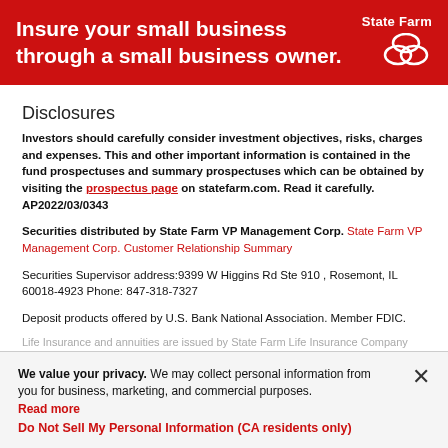[Figure (other): State Farm advertisement banner with red background. Text: 'Insure your small business through a small business owner.' with State Farm logo and three-oval icon in white.]
Disclosures
Investors should carefully consider investment objectives, risks, charges and expenses. This and other important information is contained in the fund prospectuses and summary prospectuses which can be obtained by visiting the prospectus page on statefarm.com. Read it carefully. AP2022/03/0343
Securities distributed by State Farm VP Management Corp. State Farm VP Management Corp. Customer Relationship Summary
Securities Supervisor address:9399 W Higgins Rd Ste 910 , Rosemont, IL 60018-4923 Phone: 847-318-7327
Deposit products offered by U.S. Bank National Association. Member FDIC.
Life Insurance and annuities are issued by State Farm Life Insurance Company (Not...
We value your privacy. We may collect personal information from you for business, marketing, and commercial purposes. Read more
Do Not Sell My Personal Information (CA residents only)